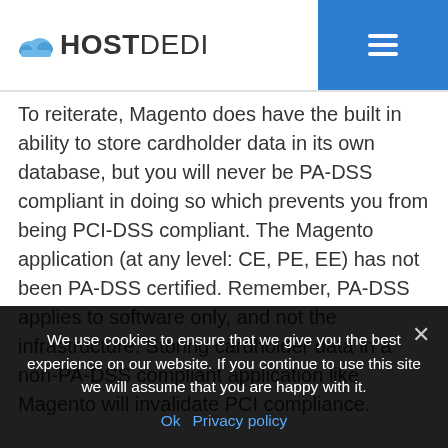HOSTDEDI
To reiterate, Magento does have the built in ability to store cardholder data in its own database, but you will never be PA-DSS compliant in doing so which prevents you from being PCI-DSS compliant. The Magento application (at any level: CE, PE, EE) has not been PA-DSS certified. Remember, PA-DSS applies to software only, and not the infrastructure. Storing cardholder data in a non-PA-DSS compliant application like Magento will invalidate PCI compliance.
If you do want to store credit card data for any time
We use cookies to ensure that we give you the best experience on our website. If you continue to use this site we will assume that you are happy with it. Ok  Privacy policy